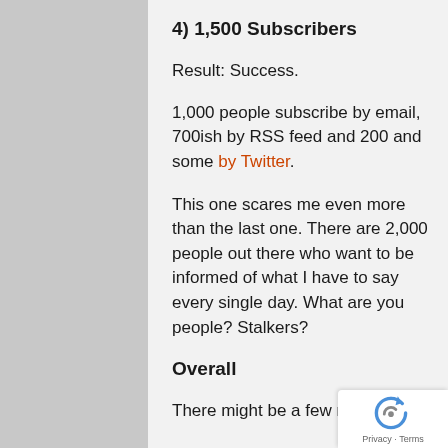4) 1,500 Subscribers
Result: Success.
1,000 people subscribe by email, 700ish by RSS feed and 200 and some by Twitter.
This one scares me even more than the last one. There are 2,000 people out there who want to be informed of what I have to say every single day. What are you people? Stalkers?
Overall
There might be a few near misses